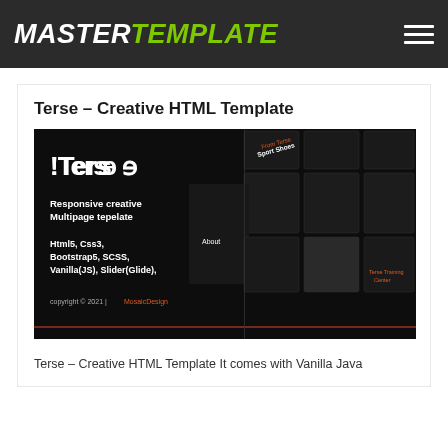MASTERTEMPLATE
Terse – Creative HTML Template
[Figure (screenshot): Dark-themed HTML template preview showing !Terse branding with text: Responsive creative Multipage tepelate, Html5, Css3, Bootstrap5, SCSS, Vanilla(JS), Slider(Glide), copyright 2021 | MosaicDesign]
Terse – Creative HTML Template It comes with Vanilla Java